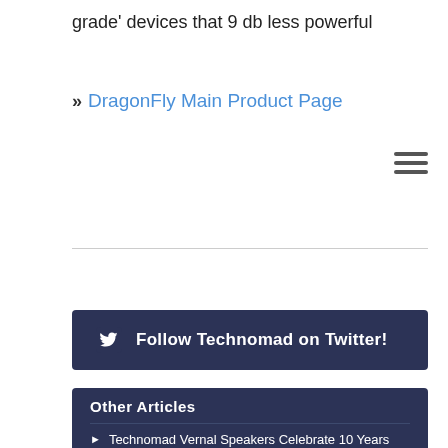grade' devices that 9 db less powerful
» DragonFly Main Product Page
[Figure (other): Hamburger menu icon (three horizontal lines)]
[Figure (other): Twitter follow button: Follow Technomad on Twitter!]
Other Articles
Technomad Vernal Speakers Celebrate 10 Years Aboard Marine Cruise Boat
Turn-Key Stadium PA System in Dakar, Senegal
Stadium Loudspeaker system brings the heat